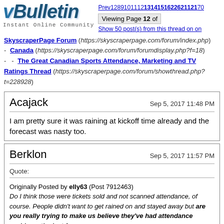vBulletin Instant Online Community - Prev12891011 12 1314151622621121 70 - Viewing Page 12 of ... - Show 50 post(s) from this thread on one page
SkyscraperPage Forum (https://skyscraperpage.com/forum/index.php) - Canada (https://skyscraperpage.com/forum/forumdisplay.php?f=18) - - The Great Canadian Sports Attendance, Marketing and TV Ratings Thread (https://skyscraperpage.com/forum/showthread.php?t=228928)
Acajack
Sep 5, 2017 11:48 PM
I am pretty sure it was raining at kickoff time already and the forecast was nasty too.
Berklon
Sep 5, 2017 11:57 PM
Quote:
Originally Posted by elly63 (Post 7912463)
Do I think those were tickets sold and not scanned attendance, of course. People didn't want to get rained on and stayed away but are you really trying to make us believe they've had attendance problems the last few